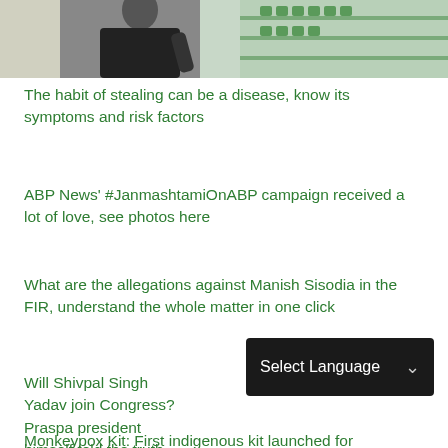[Figure (photo): Photo of a person in dark clothing near shelves with green/teal colored products]
The habit of stealing can be a disease, know its symptoms and risk factors
ABP News' #JanmashtamiOnABP campaign received a lot of love, see photos here
What are the allegations against Manish Sisodia in the FIR, understand the whole matter in one click
Will Shivpal Singh Yadav join Congress? Praspa president himself told the truth
Monkeypox Kit: First indigenous kit launched for